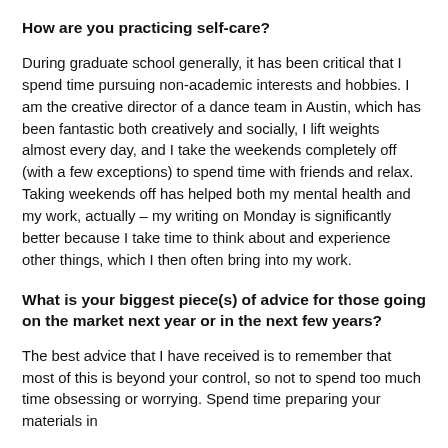How are you practicing self-care?
During graduate school generally, it has been critical that I spend time pursuing non-academic interests and hobbies. I am the creative director of a dance team in Austin, which has been fantastic both creatively and socially, I lift weights almost every day, and I take the weekends completely off (with a few exceptions) to spend time with friends and relax. Taking weekends off has helped both my mental health and my work, actually – my writing on Monday is significantly better because I take time to think about and experience other things, which I then often bring into my work.
What is your biggest piece(s) of advice for those going on the market next year or in the next few years?
The best advice that I have received is to remember that most of this is beyond your control, so not to spend too much time obsessing or worrying. Spend time preparing your materials in